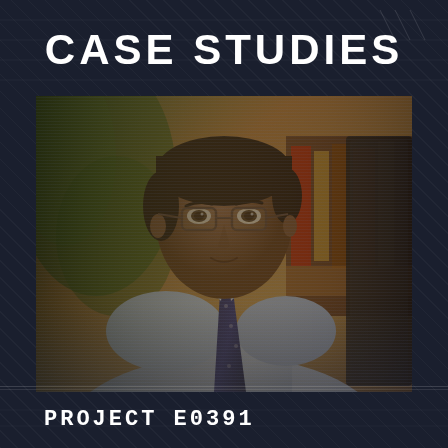CASE STUDIES
[Figure (photo): Professional man with glasses wearing a light blue dress shirt and dark navy tie, seated and looking toward camera, with bookshelves and green plants in background. The image has a slight scan-line overlay texture.]
PROJECT E0391